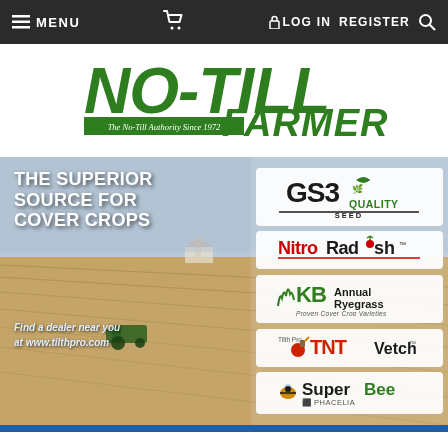MENU  [cart]  LOG IN  REGISTER  [search]
[Figure (logo): No-Till Farmer logo — large green bold italic NO-TILL FARMER text with tagline 'The No-Till Authority Since 1972']
[Figure (infographic): GS3 Quality Seed advertisement: 'THE SUPERIOR SOURCE FOR COVER CROPS' with four product logos: GS3 Quality Seed, NitroRadish, KB Annual Ryegrass (Proven Cover Crop Varieties), TNT Vetch, SuperBee Phacelia. Text: 'Find a dealer near you at www.tilthpro.com']